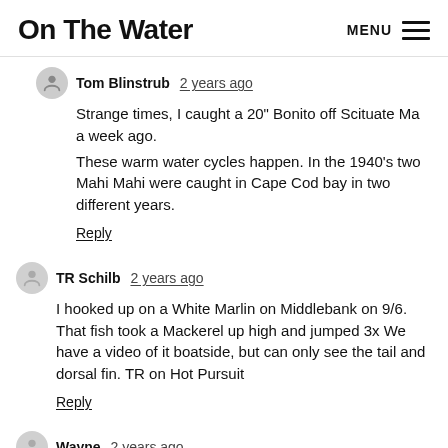On The Water   MENU
Tom Blinstrub  2 years ago
Strange times, I caught a 20" Bonito off Scituate Ma a week ago.
These warm water cycles happen. In the 1940's two Mahi Mahi were caught in Cape Cod bay in two different years.
Reply
TR Schilb  2 years ago
I hooked up on a White Marlin on Middlebank on 9/6. That fish took a Mackerel up high and jumped 3x We have a video of it boatside, but can only see the tail and dorsal fin. TR on Hot Pursuit
Reply
Wayne  2 years ago
Well done guys! That's one day you'll never forget. I